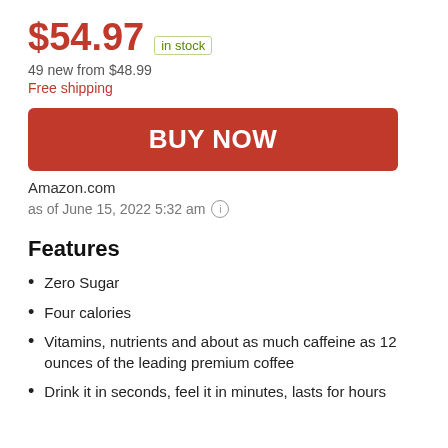$54.97 in stock
49 new from $48.99
Free shipping
BUY NOW
Amazon.com
as of June 15, 2022 5:32 am
Features
Zero Sugar
Four calories
Vitamins, nutrients and about as much caffeine as 12 ounces of the leading premium coffee
Drink it in seconds, feel it in minutes, lasts for hours